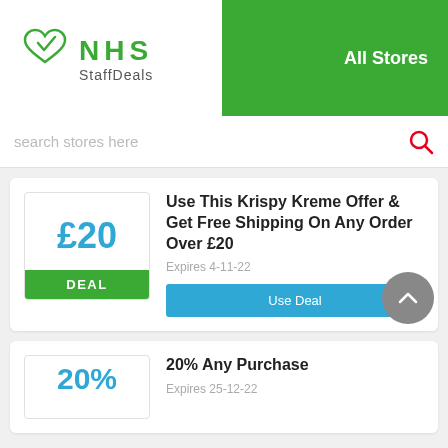[Figure (logo): NHS StaffDeals logo with green heart/checkmark icon and text 'NHS StaffDeals']
All Stores
search stores here
Use This Krispy Kreme Offer & Get Free Shipping On Any Order Over £20
Expires 4-11-22
Use Deal
20% Any Purchase
Expires 25-12-22